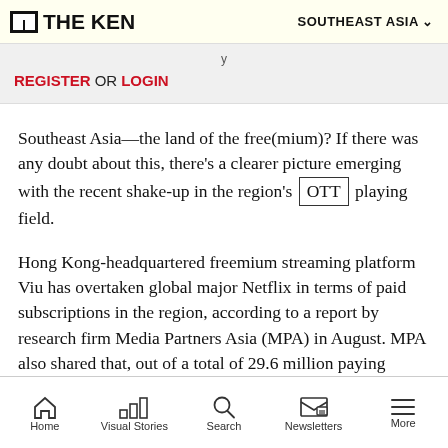THE KEN | SOUTHEAST ASIA
REGISTER OR LOGIN
Southeast Asia—the land of the free(mium)? If there was any doubt about this, there's a clearer picture emerging with the recent shake-up in the region's OTT playing field.
Hong Kong-headquartered freemium streaming platform Viu has overtaken global major Netflix in terms of paid subscriptions in the region, according to a report by research firm Media Partners Asia (MPA) in August. MPA also shared that, out of a total of 29.6 million paying subscribers in Southeast Asia:
Home | Visual Stories | Search | Newsletters | More